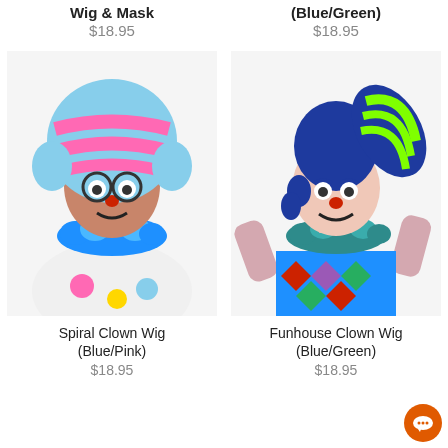Wig & Mask
$18.95
(Blue/Green)
$18.95
[Figure (photo): Person wearing a spiral clown wig in blue and pink with clown makeup and a blue ruffled collar over a polka dot costume]
[Figure (photo): Person wearing a funhouse clown wig in blue and green with clown makeup and colorful diamond pattern costume]
Spiral Clown Wig (Blue/Pink)
Funhouse Clown Wig (Blue/Green)
$18.95
$18.95